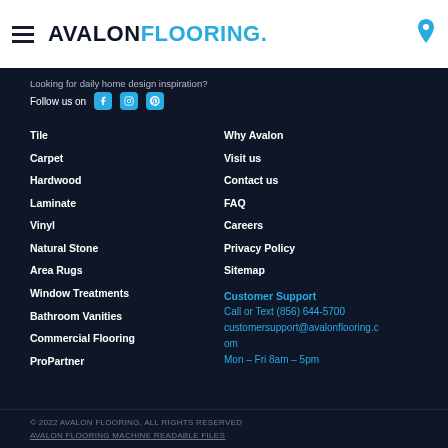AVALON FLOORING
Looking for daily home design inspiration?
Follow us on [Facebook] [Instagram] [Pinterest]
Tile
Carpet
Hardwood
Laminate
Vinyl
Natural Stone
Area Rugs
Window Treatments
Bathroom Vanities
Commercial Flooring
ProPartner
Why Avalon
Visit us
Contact us
FAQ
Careers
Privacy Policy
Sitemap
Customer Support
Call or Text (856) 644-5700
customersupport@avalonflooring.com
Mon – Fri 8am – 5pm
© 2022 AVALON FLOORING, ALL RIGHTS RESERVED
AVALON FLOORING MACHINE READABLE FILES